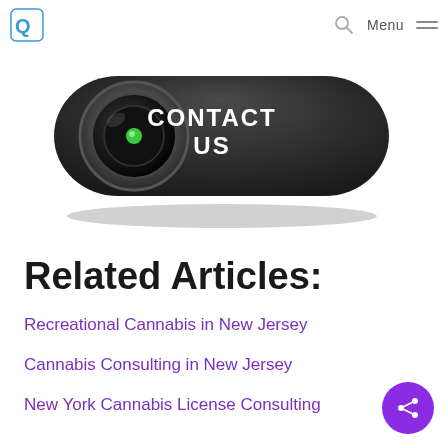Logo | Search | Menu
[Figure (illustration): A dark rounded-rectangle button styled like a camera/webcam with a lens on the left and white text 'CONTACT US' on the right on a dark background with shadow.]
Related Articles:
Recreational Cannabis in New Jersey
Cannabis Consulting in New Jersey
New York Cannabis License Consulting